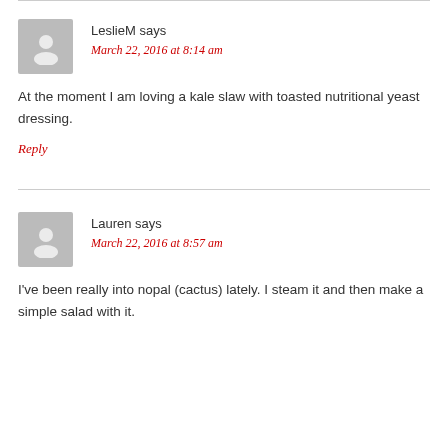[Figure (illustration): Gray avatar placeholder icon for user LeslieM]
LeslieM says
March 22, 2016 at 8:14 am
At the moment I am loving a kale slaw with toasted nutritional yeast dressing.
Reply
[Figure (illustration): Gray avatar placeholder icon for user Lauren]
Lauren says
March 22, 2016 at 8:57 am
I've been really into nopal (cactus) lately. I steam it and then make a simple salad with it.